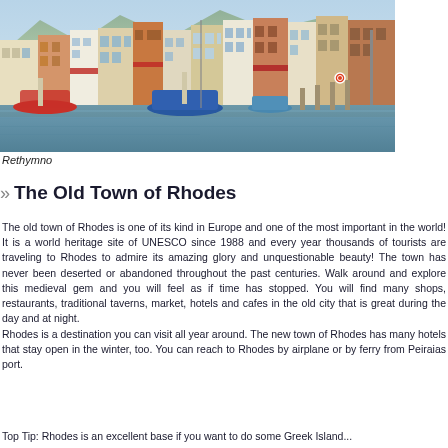[Figure (photo): Colorful harbor scene of Rethymno, Greece, with fishing boats on calm reflective water and traditional multi-story buildings along the waterfront, mountains in the background.]
Rethymno
The Old Town of Rhodes
The old town of Rhodes is one of its kind in Europe and one of the most important in the world! It is a world heritage site of UNESCO since 1988 and every year thousands of tourists are traveling to Rhodes to admire its amazing glory and unquestionable beauty! The town has never been deserted or abandoned throughout the past centuries. Walk around and explore this medieval gem and you will feel as if time has stopped. You will find many shops, restaurants, traditional taverns, market, hotels and cafes in the old city that is great during the day and at night.
Rhodes is a destination you can visit all year around. The new town of Rhodes has many hotels that stay open in the winter, too. You can reach to Rhodes by airplane or by ferry from Peiraias port.
Top Tip: Rhodes is an excellent base if you want to do some Greek Island...